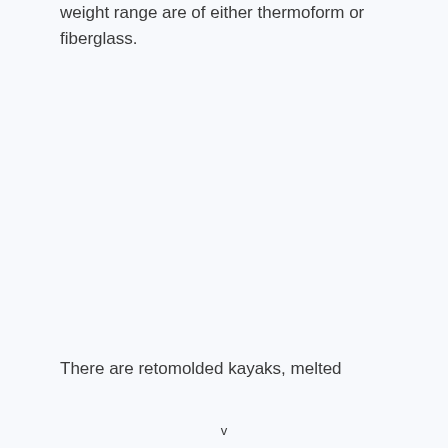weight range are of either thermoform or fiberglass.
There are retomolded kayaks, melted
v